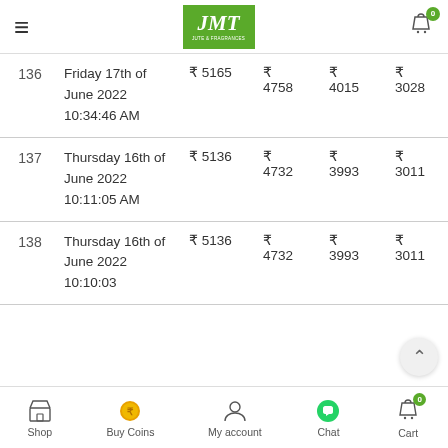JMT (logo) — shopping app header with hamburger menu and cart
| # | Date | ₹ Price col1 | ₹ Price col2 | ₹ Price col3 | ₹ Price col4 |
| --- | --- | --- | --- | --- | --- |
| 136 | Friday 17th of June 2022 10:34:46 AM | ₹ 5165 | ₹ 4758 | ₹ 4015 | ₹ 3028 |
| 137 | Thursday 16th of June 2022 10:11:05 AM | ₹ 5136 | ₹ 4732 | ₹ 3993 | ₹ 3011 |
| 138 | Thursday 16th of June 2022 10:10:03 | ₹ 5136 | ₹ 4732 | ₹ 3993 | ₹ 3011 |
Shop | Buy Coins | My account | Chat | Cart